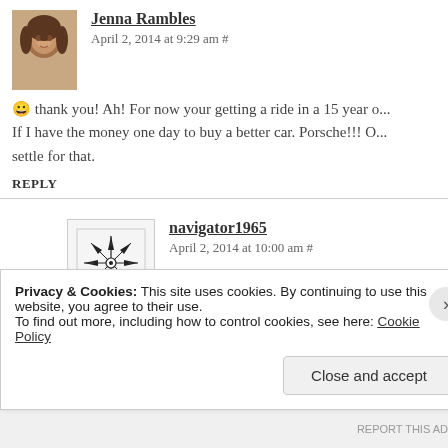Jenna Rambles
April 2, 2014 at 9:29 am #
😀 thank you! Ah! For now your getting a ride in a 15 year o... If I have the money one day to buy a better car. Porsche!!! O... settle for that.
REPLY
navigator1965
April 2, 2014 at 10:00 am #
As a 48 year dude whose finances were nuked in divorc... able to afford a car since 2008, so a 15 year old Honda i... the Monty Python skit.)
Privacy & Cookies: This site uses cookies. By continuing to use this website, you agree to their use.
To find out more, including how to control cookies, see here: Cookie Policy
Close and accept